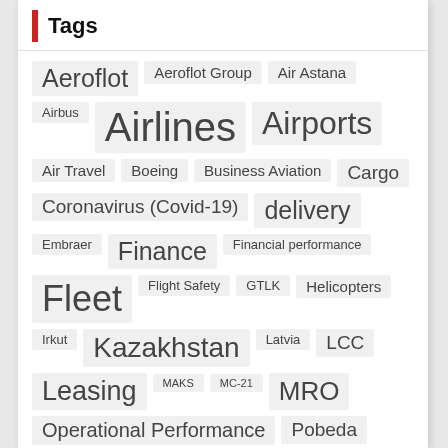Tags
Aeroflot
Aeroflot Group
Air Astana
Airbus
Airlines
Airports
Air Travel
Boeing
Business Aviation
Cargo
Coronavirus (Covid-19)
delivery
Embraer
Finance
Financial performance
Fleet
Flight Safety
GTLK
Helicopters
Irkut
Kazakhstan
Latvia
LCC
Leasing
MAKS
MC-21
MRO
Operational Performance
Pobeda
Regulation
Rossiya Airlines
Rotorcraft
R... (partially visible)